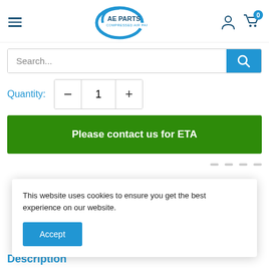[Figure (logo): AE Parts Compressed Air Parts logo with circular swoosh design]
Search...
Quantity: 1
Please contact us for ETA
This website uses cookies to ensure you get the best experience on our website.
Accept
Description